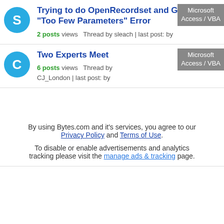Trying to do OpenRecordset and Getting a "Too Few Parameters" Error
2 posts views  Thread by sleach | last post: by
Two Experts Meet
6 posts views  Thread by CJ_London | last post: by
By using Bytes.com and it's services, you agree to our Privacy Policy and Terms of Use.
To disable or enable advertisements and analytics tracking please visit the manage ads & tracking page.